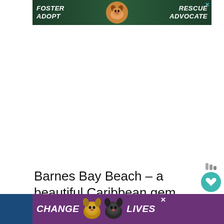[Figure (photo): Advertisement banner with dark green background showing text FOSTER ADOPT on left, a beagle dog photo in center, and RESCUE ADVOCATE on right in white italic bold text. Teal X close button at top right.]
[Figure (photo): Large white empty advertisement space below the top banner.]
Barnes Bay Beach – a beautiful Caribbean gem
[Figure (photo): Advertisement banner with purple background showing text CHANGE LIVES with two cat faces (tabby and black cat) in center. X close button visible. Heart icon with 89 count and share button on right sidebar. Paw icons at bottom right.]